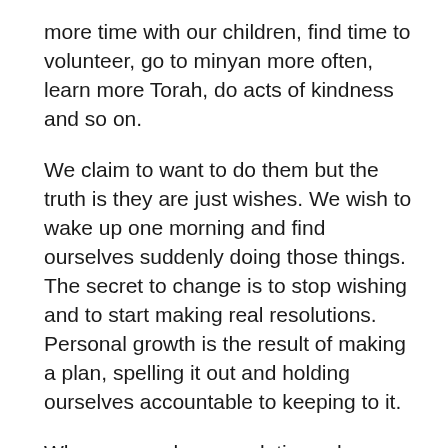more time with our children, find time to volunteer, go to minyan more often, learn more Torah, do acts of kindness and so on.
We claim to want to do them but the truth is they are just wishes. We wish to wake up one morning and find ourselves suddenly doing those things. The secret to change is to stop wishing and to start making real resolutions. Personal growth is the result of making a plan, spelling it out and holding ourselves accountable to keeping to it.
When you make a resolution, when you formulate a plan, you need to know where the pitfalls lie and what is likely to try to knock you off your course.